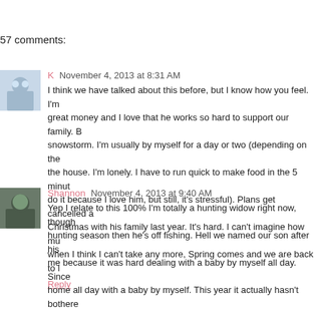57 comments:
K  November 4, 2013 at 8:31 AM
I think we have talked about this before, but I know how you feel. I'm great money and I love that he works so hard to support our family. B snowstorm. I'm usually by myself for a day or two (depending on the the house. I'm lonely. I have to run quick to make food in the 5 minut do it because I love him, but still, it's stressful). Plans get cancelled a Christmas with his family last year. It's hard. I can't imagine how mu when I think I can't take any more, Spring comes and we are back to l
Reply
Shannon  November 4, 2013 at 9:40 AM
Yep I relate to this 100% I'm totally a hunting widow right now, though hunting season then he's off fishing. Hell we named our son after his me because it was hard dealing with a baby by myself all day. Since home all day with a baby by myself. This year it actually hasn't bothere take care of by myself. The main thing that bothers me is that there a and it's hard to work around his hunting schedule, even trying to go to mention we haven't had a date night in months. But I know he enjoy with healthy meat to eat.